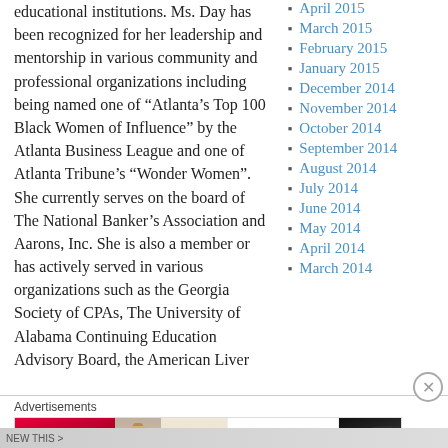educational institutions. Ms. Day has been recognized for her leadership and mentorship in various community and professional organizations including being named one of “Atlanta’s Top 100 Black Women of Influence” by the Atlanta Business League and one of Atlanta Tribune’s “Wonder Women”. She currently serves on the board of The National Banker’s Association and Aarons, Inc. She is also a member or has actively served in various organizations such as the Georgia Society of CPAs, The University of Alabama Continuing Education Advisory Board, the American Liver
April 2015
March 2015
February 2015
January 2015
December 2014
November 2014
October 2014
September 2014
August 2014
July 2014
June 2014
May 2014
April 2014
March 2014
[Figure (infographic): Ulta Beauty advertisement banner showing cosmetic images (lips, makeup brush, eye makeup, Ulta logo, eye closeup) with SHOP NOW text]